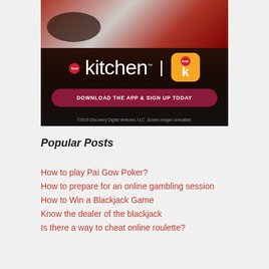[Figure (advertisement): Food Network Kitchen app advertisement showing food image at top, 'food kitchen' logo with app icon, and a burgundy button reading 'DOWNLOAD THE APP & SIGN UP TODAY', with copyright line '©2019 Discovery Digital Ventures, LLC. Screen images simulated.']
Popular Posts
How to play Pai Gow Poker?
How to prepare for an online gambling session
How to Win a Blackjack Game
Know the dealer of the blackjack
Is there a way to cheat online roulette?